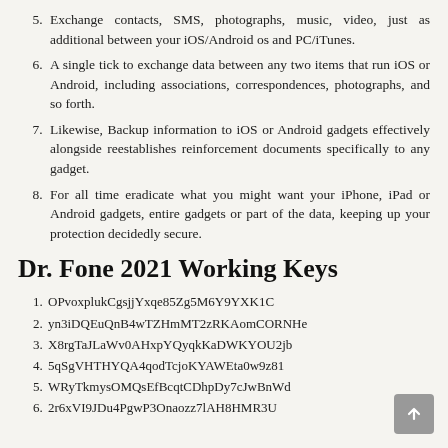5. Exchange contacts, SMS, photographs, music, video, just as additional between your iOS/Android os and PC/iTunes.
6. A single tick to exchange data between any two items that run iOS or Android, including associations, correspondences, photographs, and so forth.
7. Likewise, Backup information to iOS or Android gadgets effectively alongside reestablishes reinforcement documents specifically to any gadget.
8. For all time eradicate what you might want your iPhone, iPad or Android gadgets, entire gadgets or part of the data, keeping up your protection decidedly secure.
Dr. Fone 2021 Working Keys
1. OPvoxplukCgsjjYxqe85Zg5M6Y9YXK1C
2. yn3iDQEuQnB4wTZHmMT2zRKAomCORNHe
3. X8rgTaJLaWv0AHxpYQyqkKaDWKYOU2jb
4. 5qSgVHTHYQA4qodTcjoKYAWEta0w9z81
5. WRyTkmysOMQsEfBcqtCDhpDy7cJwBnWd
6. 2r6xVI9JDu4PgwP3Onaozz7lAH8HMR3U